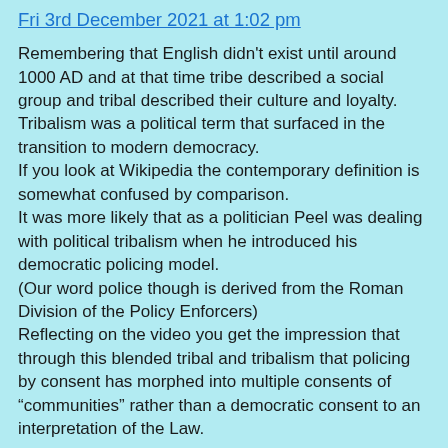Fri 3rd December 2021 at 1:02 pm
Remembering that English didn't exist until around 1000 AD and at that time tribe described a social group and tribal described their culture and loyalty. Tribalism was a political term that surfaced in the transition to modern democracy.
If you look at Wikipedia the contemporary definition is somewhat confused by comparison.
It was more likely that as a politician Peel was dealing with political tribalism when he introduced his democratic policing model.
(Our word police though is derived from the Roman Division of the Policy Enforcers)
Reflecting on the video you get the impression that through this blended tribal and tribalism that policing by consent has morphed into multiple consents of “communities” rather than a democratic consent to an interpretation of the Law.